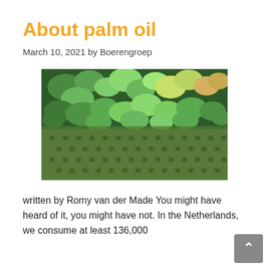About palm oil
March 10, 2021 by Boerengroep
[Figure (photo): Aerial view of a forest transitioning into rows of palm oil plantation trees, photographed from above, showing green canopy.]
written by Romy van der Made You might have heard of it, you might have not. In the Netherlands, we consume at least 136,000